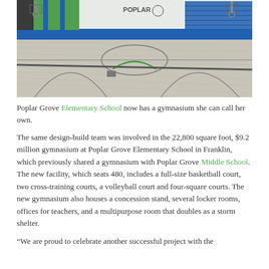[Figure (photo): Interior photo of a new gymnasium at Poplar Grove Elementary School showing a hardwood basketball court with painted court lines, blue bleacher seating along the far wall, green wall accents, and basketball hoops visible in the background.]
Poplar Grove Elementary School now has a gymnasium she can call her own.
The same design-build team was involved in the 22,800 square foot, $9.2 million gymnasium at Poplar Grove Elementary School in Franklin, which previously shared a gymnasium with Poplar Grove Middle School. The new facility, which seats 480, includes a full-size basketball court, two cross-training courts, a volleyball court and four-square courts. The new gymnasium also houses a concession stand, several locker rooms, offices for teachers, and a multipurpose room that doubles as a storm shelter.
“We are proud to celebrate another successful project with the